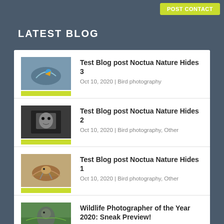LATEST BLOG
Test Blog post Noctua Nature Hides 3
Oct 10, 2020 | Bird photography
Test Blog post Noctua Nature Hides 2
Oct 10, 2020 | Bird photography, Other
Test Blog post Noctua Nature Hides 1
Oct 10, 2020 | Bird photography, Other
Wildlife Photographer of the Year 2020: Sneak Preview!
Sep 1, 2020 | Blog, Nature Photo Contests
NATURE PHOTOGRAPHER OF THE YEAR 2019